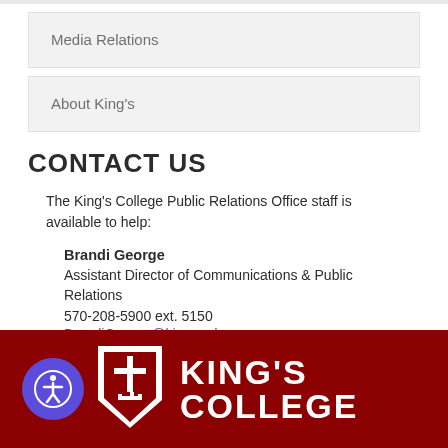Media Relations
About King's
CONTACT US
The King's College Public Relations Office staff is available to help:
Brandi George
Assistant Director of Communications & Public Relations
570-208-5900 ext. 5150
BrandiGeorge@kings.edu
[Figure (logo): King's College footer with accessibility icon, shield logo, and 'KING'S COLLEGE' text on dark red background]